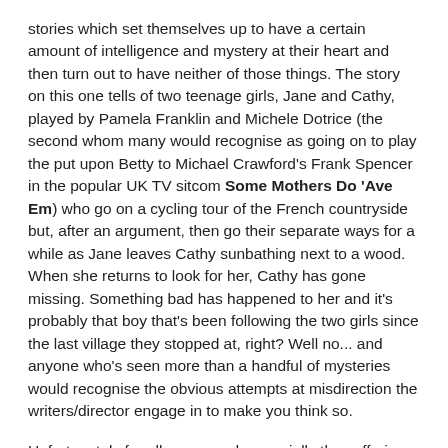stories which set themselves up to have a certain amount of intelligence and mystery at their heart and then turn out to have neither of those things. The story on this one tells of two teenage girls, Jane and Cathy, played by Pamela Franklin and Michele Dotrice (the second whom many would recognise as going on to play the put upon Betty to Michael Crawford's Frank Spencer in the popular UK TV sitcom Some Mothers Do 'Ave Em) who go on a cycling tour of the French countryside but, after an argument, then go their separate ways for a while as Jane leaves Cathy sunbathing next to a wood. When she returns to look for her, Cathy has gone missing. Something bad has happened to her and it's probably that boy that's been following the two girls since the last village they stopped at, right? Well no... and anyone who's seen more than a handful of mysteries would recognise the obvious attempts at misdirection the writers/director engage in to make you think so.
Unfortunately for all concerned, especially the suffering audience, the real “killer” in this piece will be pretty obvious right from his first real appearance in the movie, about half way through. The script is written and clues are given in such